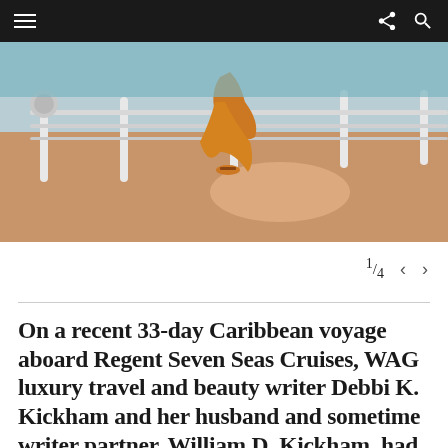navigation bar with hamburger menu, share icon, and search icon
[Figure (photo): Person in an orange/amber flowing dress walking on a cruise ship deck with white railings and teal water visible in the background. Warm tan deck surface lit by sunlight.]
1/4
On a recent 33-day Caribbean voyage aboard Regent Seven Seas Cruises, WAG luxury travel and beauty writer Debbi K. Kickham and her husband and sometime writer partner, William D. Kickham, had